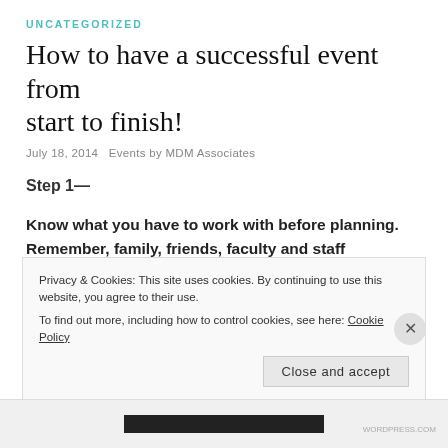UNCATEGORIZED
How to have a successful event from start to finish!
July 18, 2014   Events by MDM Associates
Step 1—
Know what you have to work with before planning. Remember, family, friends, faculty and staff members, students, and community groups are all resources.
Step 2—Assess needs and interests
Privacy & Cookies: This site uses cookies. By continuing to use this website, you agree to their use. To find out more, including how to control cookies, see here: Cookie Policy
Close and accept